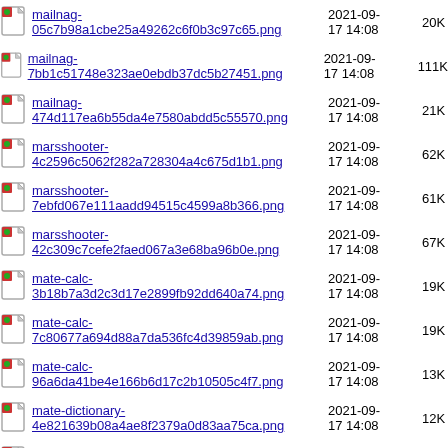mailnag-05c7b98a1cbe25a49262c6f0b3c97c65.png 2021-09-17 14:08 20K
mailnag-7bb1c51748e323ae0ebdb37dc5b27451.png 2021-09-17 14:08 111K
mailnag-474d117ea6b55da4e7580abdd5c55570.png 2021-09-17 14:08 21K
marsshooter-4c2596c5062f282a728304a4c675d1b1.png 2021-09-17 14:08 62K
marsshooter-7ebfd067e111aadd94515c4599a8b366.png 2021-09-17 14:08 61K
marsshooter-42c309c7cefe2faed067a3e68ba96b0e.png 2021-09-17 14:08 67K
mate-calc-3b18b7a3d2c3d17e2899fb92dd640a74.png 2021-09-17 14:08 19K
mate-calc-7c80677a694d88a7da536fc4d39859ab.png 2021-09-17 14:08 19K
mate-calc-96a6da41be4e166b6d17c2b10505c4f7.png 2021-09-17 14:08 13K
mate-dictionary-4e821639b08a4ae8f2379a0d83aa75ca.png 2021-09-17 14:08 12K
mate-dictionary-cbdef5ec9a3c4aab107a91bb702126f2.png 2021-09-17 14:08 22K
mate-dictionary-... 2021-09-...